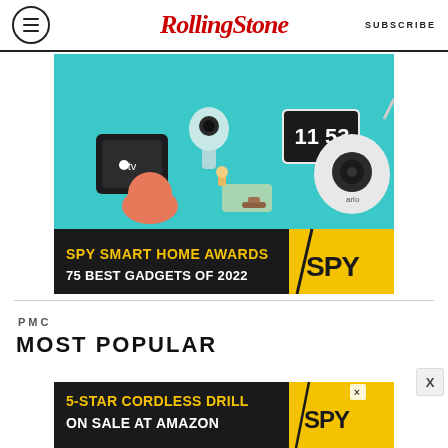Rolling Stone — SUBSCRIBE
[Figure (illustration): SPY Smart Home Awards advertisement showing smart home gadgets including Apple TV, Google Home speaker, Arlo security camera, smart display showing time 11:53, and miniature furniture on teal background with black/yellow banner: SPY SMART HOME AWARDS 75 BEST GADGETS OF 2022 / SPY logo]
PMC
MOST POPULAR
[Figure (illustration): SPY advertisement: 5-STAR CORDLESS DRILL ON SALE AT AMAZON with SPY logo on black/yellow background]